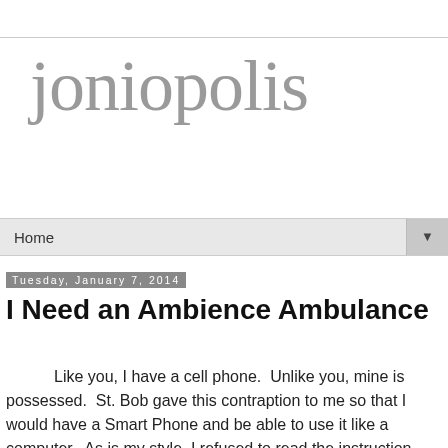joniopolis
Home
Tuesday, January 7, 2014
I Need an Ambience Ambulance
Like you, I have a cell phone.  Unlike you, mine is possessed.  St. Bob gave this contraption to me so that I would have a Smart Phone and be able to use it like a computer.  As is my style, I refused to read the instruction